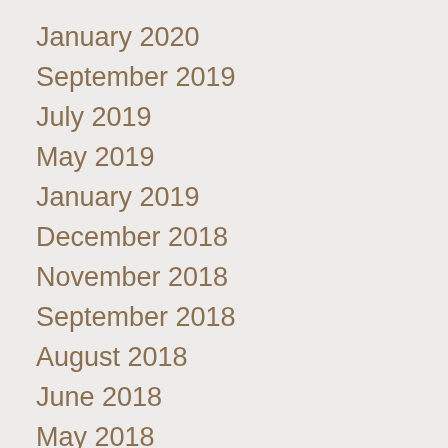January 2020
September 2019
July 2019
May 2019
January 2019
December 2018
November 2018
September 2018
August 2018
June 2018
May 2018
April 2018
March 2018
February 2018
January 2018
December 2017
November 2017